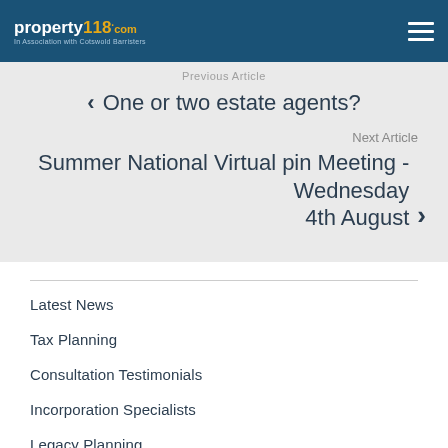property118.com — In Association with Cotswold Barristers
Previous Article
❮ One or two estate agents?
Next Article
Summer National Virtual pin Meeting - Wednesday 4th August ❯
Latest News
Tax Planning
Consultation Testimonials
Incorporation Specialists
Legacy Planning
LLP's for Landlords
Introducer Affiliates